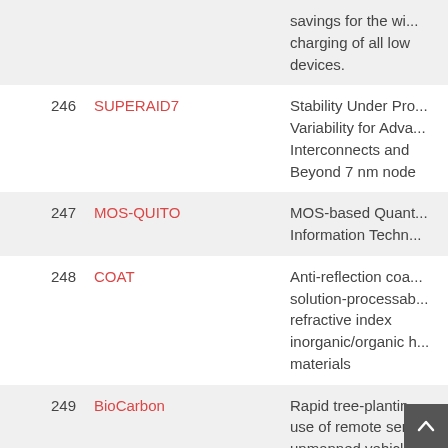| No. | Project Name | Description |
| --- | --- | --- |
|  |  | savings for the wi... charging of all low... devices. |
| 246 | SUPERAID7 | Stability Under Pro... Variability for Adva... Interconnects and... Beyond 7 nm node |
| 247 | MOS-QUITO | MOS-based Quant... Information Techn... |
| 248 | COAT | Anti-reflection coa... solution-processab... refractive index inorganic/organic h... materials |
| 249 | BioCarbon | Rapid tree-plantin... use of remote sen... unmanned vehicle... technologies for la... |